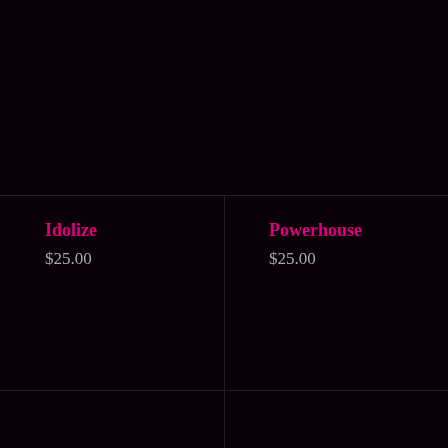Idolize
$25.00
Powerhouse
$25.00